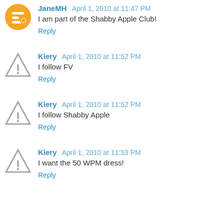JaneMH April 1, 2010 at 11:47 PM
I am part of the Shabby Apple Club!
Reply
Kiery April 1, 2010 at 11:52 PM
I follow FV
Reply
Kiery April 1, 2010 at 11:52 PM
I follow Shabby Apple
Reply
Kiery April 1, 2010 at 11:53 PM
I want the 50 WPM dress!
Reply